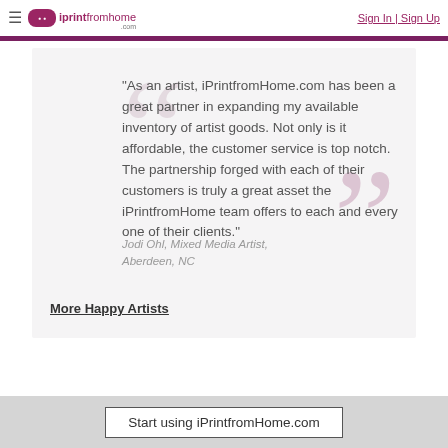≡  iprint from home .com  |  Sign In | Sign Up
"As an artist, iPrintfromHome.com has been a great partner in expanding my available inventory of artist goods. Not only is it affordable, the customer service is top notch. The partnership forged with each of their customers is truly a great asset the iPrintfromHome team offers to each and every one of their clients."
Jodi Ohl, Mixed Media Artist, Aberdeen, NC
More Happy Artists
Start using iPrintfromHome.com